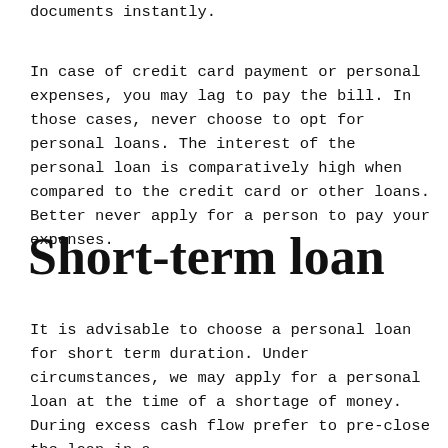While applying for a loan, make sure to submit the loan documents instantly.
In case of credit card payment or personal expenses, you may lag to pay the bill. In those cases, never choose to opt for personal loans. The interest of the personal loan is comparatively high when compared to the credit card or other loans. Better never apply for a person to pay your expenses.
Short-term loan
It is advisable to choose a personal loan for short term duration. Under circumstances, we may apply for a personal loan at the time of a shortage of money. During excess cash flow prefer to pre-close the loan in a